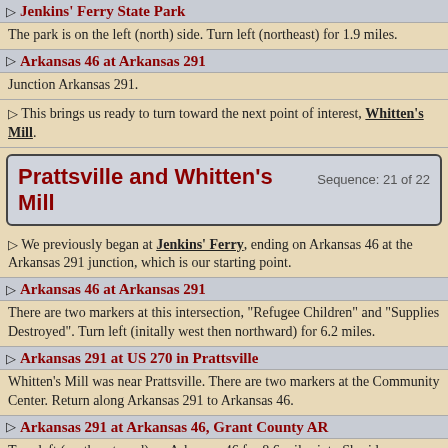Jenkins' Ferry State Park
The park is on the left (north) side. Turn left (northeast) for 1.9 miles.
Arkansas 46 at Arkansas 291
Junction Arkansas 291.
This brings us ready to turn toward the next point of interest, Whitten's Mill.
Prattsville and Whitten's Mill Sequence: 21 of 22
We previously began at Jenkins' Ferry, ending on Arkansas 46 at the Arkansas 291 junction, which is our starting point.
Arkansas 46 at Arkansas 291
There are two markers at this intersection, "Refugee Children" and "Supplies Destroyed". Turn left (initally west then northward) for 6.2 miles.
Arkansas 291 at US 270 in Prattsville
Whitten's Mill was near Prattsville. There are two markers at the Community Center. Return along Arkansas 291 to Arkansas 46.
Arkansas 291 at Arkansas 46, Grant County AR
Turn left (northeastward) on Arkansas 46 for 8.6 miles into Sheridan.
Arkansas 46 at Grant/Saline County, Sheridan AR